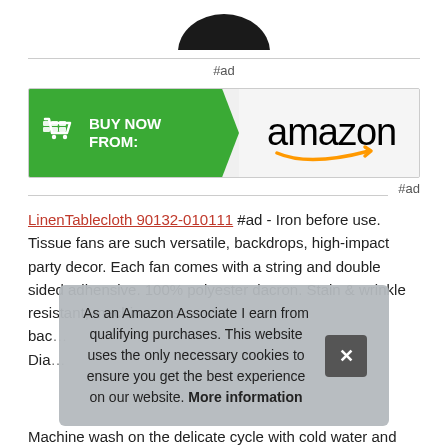[Figure (photo): Top portion of a dark/black product (partially cropped at top)]
#ad
[Figure (infographic): Buy Now From Amazon banner button with green arrow shape on left and Amazon logo on right]
#ad
LinenTablecloth 90132-010111 #ad - Iron before use. Tissue fans are such versatile, backdrops, high-impact party decor. Each fan comes with a string and double sided adhensive. 100% polyester dacron. Stain & wrinkle resistant, machine was... bac... Dia...
As an Amazon Associate I earn from qualifying purchases. This website uses the only necessary cookies to ensure you get the best experience on our website. More information
Machine wash on the delicate cycle with cold water and